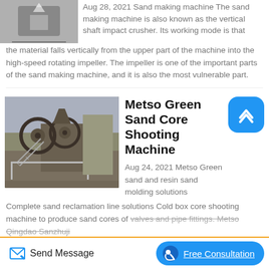[Figure (photo): Partial top image of a sand making machine or similar industrial equipment, cropped at top]
Aug 28, 2021 Sand making machine The sand making machine is also known as the vertical shaft impact crusher. Its working mode is that the material falls vertically from the upper part of the machine into the high-speed rotating impeller. The impeller is one of the important parts of the sand making machine, and it is also the most vulnerable part.
[Figure (photo): Industrial jaw crusher / core shooting machine outdoors on a platform with metal framework and large flywheels, industrial setting]
Metso Green Sand Core Shooting Machine
Aug 24, 2021 Metso Green sand and resin sand molding solutions Complete sand reclamation line solutions Cold box core shooting machine to produce sand cores of valves and pipe fittings. Metso Qingdao Sanzhuji...
Send Message
Free Consultation